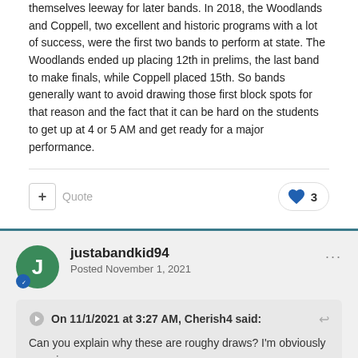themselves leeway for later bands. In 2018, the Woodlands and Coppell, two excellent and historic programs with a lot of success, were the first two bands to perform at state. The Woodlands ended up placing 12th in prelims, the last band to make finals, while Coppell placed 15th. So bands generally want to avoid drawing those first block spots for that reason and the fact that it can be hard on the students to get up at 4 or 5 AM and get ready for a major performance.
justabandkid94
Posted November 1, 2021
On 11/1/2021 at 3:27 AM, Cherish4 said:
Can you explain why these are roughy draws? I'm obviously a novice.